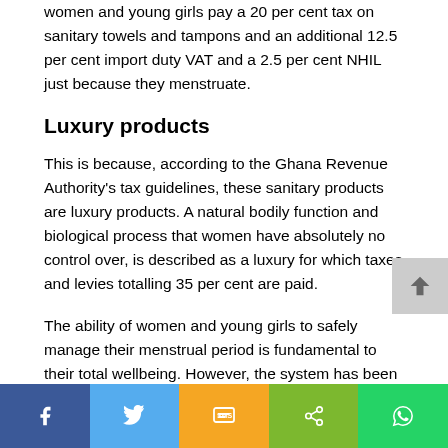women and young girls pay a 20 per cent tax on sanitary towels and tampons and an additional 12.5 per cent import duty VAT and a 2.5 per cent NHIL just because they menstruate.
Luxury products
This is because, according to the Ghana Revenue Authority's tax guidelines, these sanitary products are luxury products. A natural bodily function and biological process that women have absolutely no control over, is described as a luxury for which taxes and levies totalling 35 per cent are paid.
The ability of women and young girls to safely manage their menstrual period is fundamental to their total wellbeing. However, the system has been set up in a way that unfairly denies them this ability.
[Figure (other): Social sharing bar with Facebook, Twitter, SMS, Share, and WhatsApp buttons]